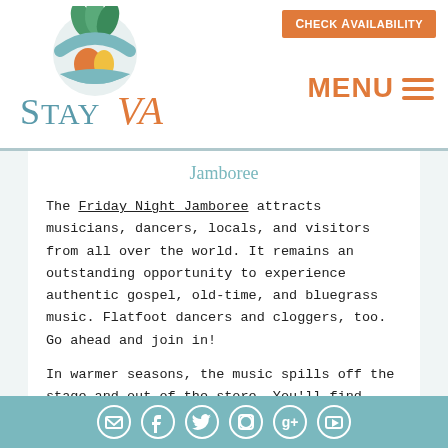[Figure (logo): StayVA logo with decorative circular emblem in green, teal, orange and yellow above the text STAY VA in teal and orange colors]
Check Availability
MENU ≡
Jamboree
The Friday Night Jamboree attracts musicians, dancers, locals, and visitors from all over the world. It remains an outstanding opportunity to experience authentic gospel, old-time, and bluegrass music. Flatfoot dancers and cloggers, too. Go ahead and join in!
In warmer seasons, the music spills off the stage and out of the store. You'll find folks playing in the alleys, driveways, and parking lot. The Jamboree is held from
[Figure (other): Social media icons row: email, Facebook, Twitter, Pinterest, Google+, YouTube — white circle icons on teal background]